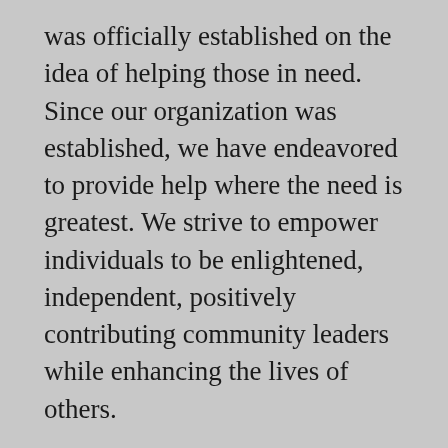was officially established on the idea of helping those in need. Since our organization was established, we have endeavored to provide help where the need is greatest. We strive to empower individuals to be enlightened, independent, positively contributing community leaders while enhancing the lives of others.
Our team is made up of trained professionals who have a passion for helping others. Through discussions, public events, consultations and seminars, we contribute to making the world a better place one person at a time.